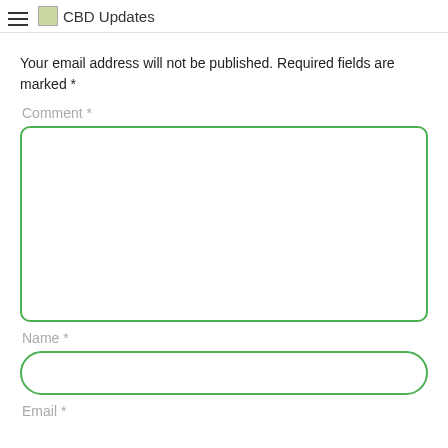CBD Updates
Your email address will not be published. Required fields are marked *
Comment *
[Figure (other): Comment text area input field with green rounded border]
Name *
[Figure (other): Name text input field with green rounded border]
Email *